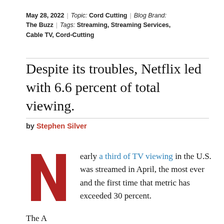May 28, 2022 | Topic: Cord Cutting | Blog Brand: The Buzz | Tags: Streaming, Streaming Services, Cable TV, Cord-Cutting
Despite its troubles, Netflix led with 6.6 percent of total viewing.
by Stephen Silver
Nearly a third of TV viewing in the U.S. was streamed in April, the most ever and the first time that metric has exceeded 30 percent.
The A...